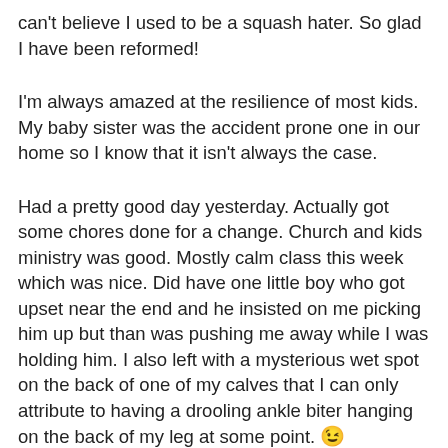can't believe I used to be a squash hater. So glad I have been reformed!
I'm always amazed at the resilience of most kids. My baby sister was the accident prone one in our home so I know that it isn't always the case.
Had a pretty good day yesterday. Actually got some chores done for a change. Church and kids ministry was good. Mostly calm class this week which was nice. Did have one little boy who got upset near the end and he insisted on me picking him up but than was pushing me away while I was holding him. I also left with a mysterious wet spot on the back of one of my calves that I can only attribute to having a drooling ankle biter hanging on the back of my leg at some point. 😉
Didn't sleep terribly well last night which is a bummer. Got up and ate a banana in hopes it would help but actually made my tummy a little upset. Finally got up again and read in the living room until I fell